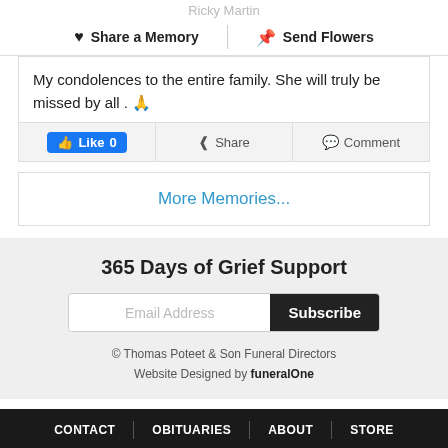Ricky Martin
Share a Memory   |   Send Flowers
My condolences to the entire family. She will truly be missed by all . 🙏
Like 0   Share   Comment
More Memories...
365 Days of Grief Support
Email Address   Subscribe
© Thomas Poteet & Son Funeral Directors
Website Designed by funeralOne
CONTACT   OBITUARIES   ABOUT   STORE